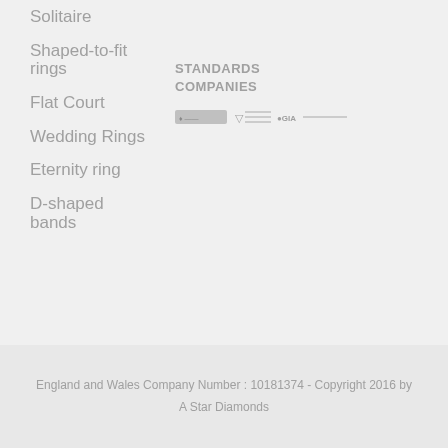Solitaire
Shaped-to-fit rings
STANDARDS COMPANIES
Flat Court
[Figure (logo): Small logos for standards companies including hallmark, GIA and other certifying bodies]
Wedding Rings
Eternity ring
D-shaped bands
England and Wales Company Number : 10181374 - Copyright 2016 by A Star Diamonds